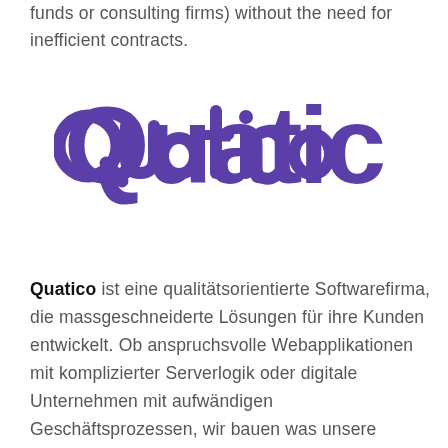funds or consulting firms) without the need for inefficient contracts.
[Figure (logo): Quatico logo — the word 'Quatico' in bold rounded purple lettering]
Quatico ist eine qualitätsorientierte Softwarefirma, die massgeschneiderte Lösungen für ihre Kunden entwickelt. Ob anspruchsvolle Webapplikationen mit komplizierter Serverlogik oder digitale Unternehmen mit aufwändigen Geschäftsprozessen, wir bauen was unsere